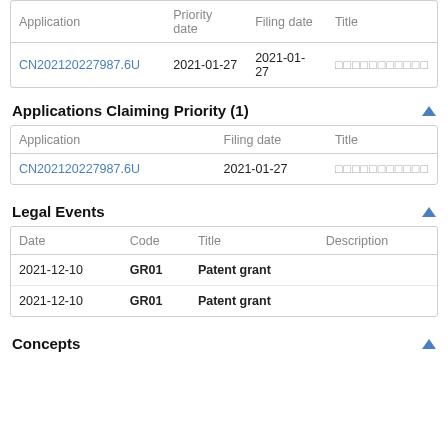| Application | Priority date | Filing date | Title |
| --- | --- | --- | --- |
| CN202120227987.6U | 2021-01-27 | 2021-01-27 | □□□□□□□□□□□ |
Applications Claiming Priority (1)
| Application | Filing date | Title |
| --- | --- | --- |
| CN202120227987.6U | 2021-01-27 | □□□□□□□□□□□ |
Legal Events
| Date | Code | Title | Description |
| --- | --- | --- | --- |
| 2021-12-10 | GR01 | Patent grant |  |
| 2021-12-10 | GR01 | Patent grant |  |
Concepts